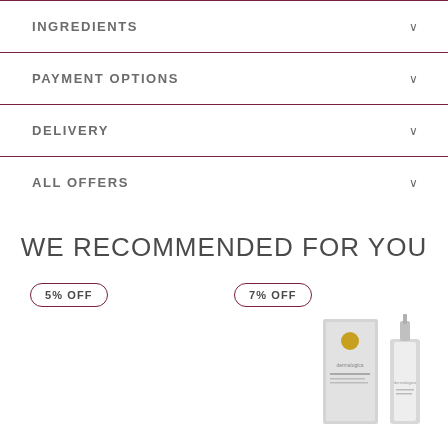INGREDIENTS
PAYMENT OPTIONS
DELIVERY
ALL OFFERS
WE RECOMMENDED FOR YOU
5% OFF
7% OFF
[Figure (photo): Dermalogica skincare product box and dropper bottle]